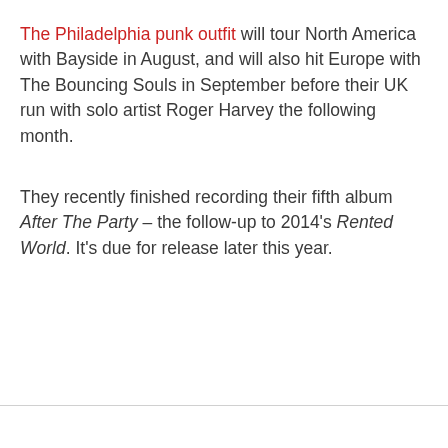The Philadelphia punk outfit will tour North America with Bayside in August, and will also hit Europe with The Bouncing Souls in September before their UK run with solo artist Roger Harvey the following month.
They recently finished recording their fifth album After The Party – the follow-up to 2014's Rented World. It's due for release later this year.